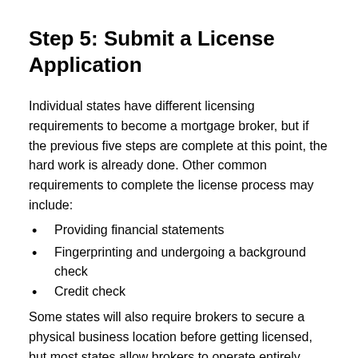Step 5: Submit a License Application
Individual states have different licensing requirements to become a mortgage broker, but if the previous five steps are complete at this point, the hard work is already done. Other common requirements to complete the license process may include:
Providing financial statements
Fingerprinting and undergoing a background check
Credit check
Some states will also require brokers to secure a physical business location before getting licensed, but most states allow brokers to operate entirely online. As for cost, licensing fees range from $1,000